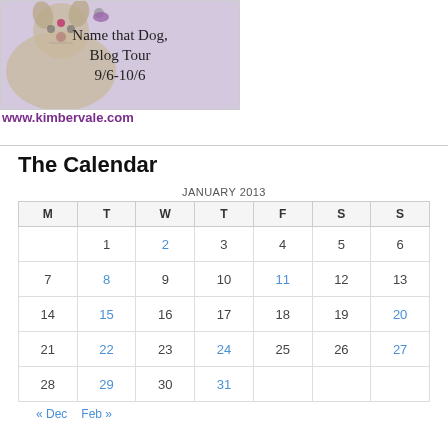[Figure (illustration): Name that Dog Blog Tour 9/6-10/6 banner with a dog photo and purple/lavender background, showing a fluffy dog]
www.kimbervale.com
The Calendar
| M | T | W | T | F | S | S |
| --- | --- | --- | --- | --- | --- | --- |
|  | 1 | 2 | 3 | 4 | 5 | 6 |
| 7 | 8 | 9 | 10 | 11 | 12 | 13 |
| 14 | 15 | 16 | 17 | 18 | 19 | 20 |
| 21 | 22 | 23 | 24 | 25 | 26 | 27 |
| 28 | 29 | 30 | 31 |  |  |  |
« Dec   Feb »